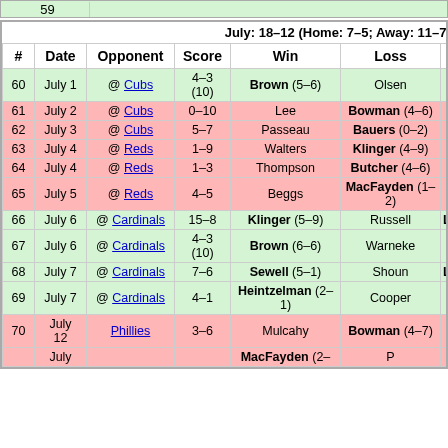| # | Date | Opponent | Score | Win | Loss |
| --- | --- | --- | --- | --- | --- |
| 60 | July 1 | @ Cubs | 4–3 (10) | Brown (5–6) | Olsen |
| 61 | July 2 | @ Cubs | 0–10 | Lee | Bowman (4–6) |
| 62 | July 3 | @ Cubs | 5–7 | Passeau | Bauers (0–2) |
| 63 | July 4 | @ Reds | 1–9 | Walters | Klinger (4–9) |
| 64 | July 4 | @ Reds | 1–3 | Thompson | Butcher (4–6) |
| 65 | July 5 | @ Reds | 4–5 | Beggs | MacFayden (1–2) |
| 66 | July 6 | @ Cardinals | 15–8 | Klinger (5–9) | Russell |
| 67 | July 6 | @ Cardinals | 4–3 (10) | Brown (6–6) | Warneke |
| 68 | July 7 | @ Cardinals | 7–6 | Sewell (5–1) | Shoun |
| 69 | July 7 | @ Cardinals | 4–1 | Heintzelman (2–1) | Cooper |
| 70 | July 12 | Phillies | 3–6 | Mulcahy | Bowman (4–7) |